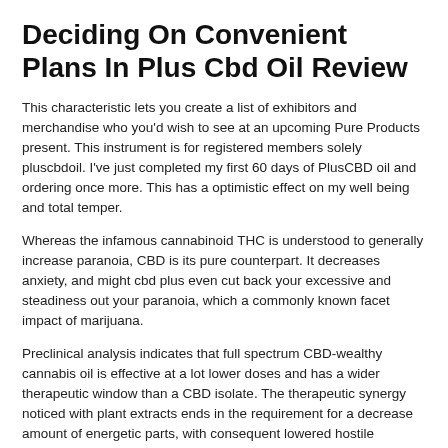Deciding On Convenient Plans In Plus Cbd Oil Review
This characteristic lets you create a list of exhibitors and merchandise who you'd wish to see at an upcoming Pure Products present. This instrument is for registered members solely pluscbdoil. I've just completed my first 60 days of PlusCBD oil and ordering once more. This has a optimistic effect on my well being and total temper.
Whereas the infamous cannabinoid THC is understood to generally increase paranoia, CBD is its pure counterpart. It decreases anxiety, and might cbd plus even cut back your excessive and steadiness out your paranoia, which a commonly known facet impact of marijuana.
Preclinical analysis indicates that full spectrum CBD-wealthy cannabis oil is effective at a lot lower doses and has a wider therapeutic window than a CBD isolate. The therapeutic synergy noticed with plant extracts ends in the requirement for a decrease amount of energetic parts, with consequent lowered hostile negative effects," a 2015 Israeli research concluded. In animal research, CBD isolates require very high – and precise – doses to be